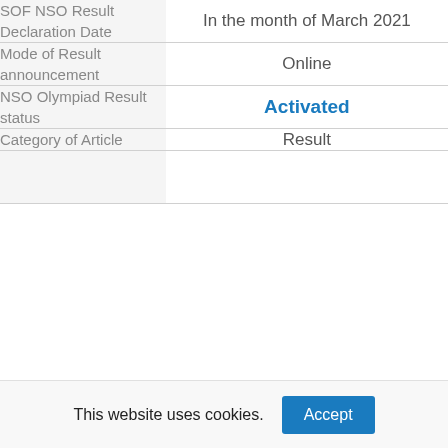|  |  |
| --- | --- |
| SOF NSO Result Declaration Date | In the month of March 2021 |
| Mode of Result announcement | Online |
| NSO Olympiad Result status | Activated |
| Category of Article | Result |
|  |  |
This website uses cookies.